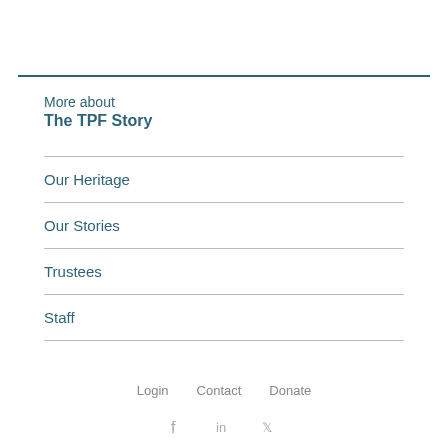More about
The TPF Story
Our Heritage
Our Stories
Trustees
Staff
Login   Contact   Donate